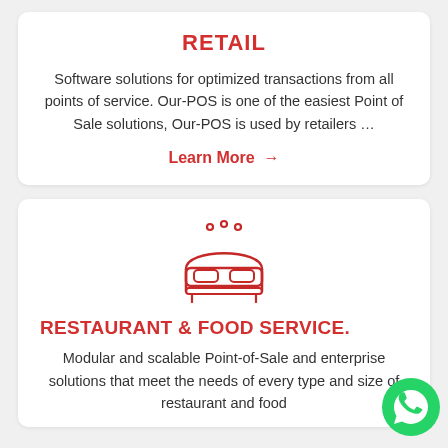RETAIL
Software solutions for optimized transactions from all points of service. Our-POS is one of the easiest Point of Sale solutions, Our-POS is used by retailers …
Learn More →
[Figure (illustration): Red outline icon of a bed/hotel bed with a headboard and three dots above, representing hospitality or hotel service]
RESTAURANT & FOOD SERVICE.
Modular and scalable Point-of-Sale and enterprise solutions that meet the needs of every type and size of restaurant and food
[Figure (logo): WhatsApp green circular button icon in bottom right corner]